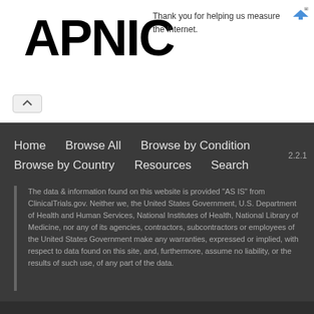[Figure (logo): APNIC logo in large bold black text]
Thank you for helping us measure the Internet.
Home    Browse All    Browse by Condition    Browse by Country    Resources    Search
2.2.1
The data & information found on this website is provided "AS IS" from ClinicalTrials.gov. Neither we, the United States Government, U.S. Department of Health and Human Services, National Institutes of Health, National Library of Medicine, nor any of its agencies, contractors, subcontractors or employees of the United States Government make any warranties, expressed or implied, with respect to data found on this site, and, furthermore, assume no liability, or the results of such use, of any part of the data.